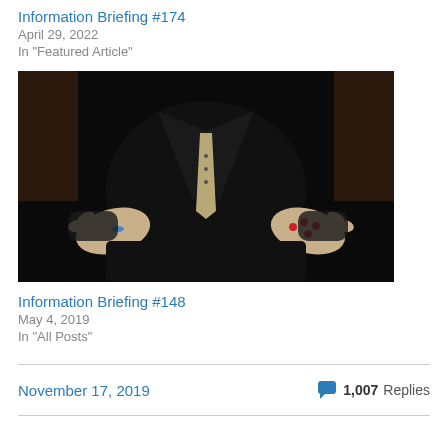Information Briefing #174
April 29, 2022
In "Featured Article"
[Figure (photo): A figure in a dark leather suit and tie sitting in a chair, holding out both hands open — left hand with a blue pill, right hand with red pills. The figure's head is not visible in the frame.]
Information Briefing #148
May 4, 2019
In "All Posts"
November 17, 2019
1,007 Replies